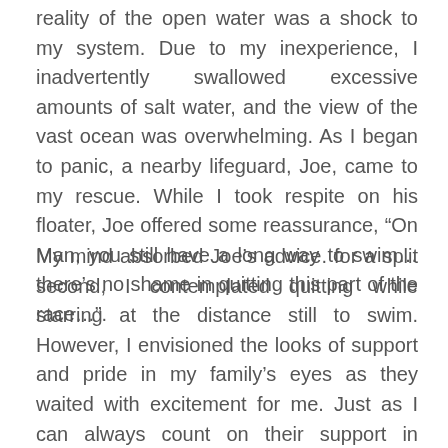reality of the open water was a shock to my system. Due to my inexperience, I inadvertently swallowed excessive amounts of salt water, and the view of the vast ocean was overwhelming. As I began to panic, a nearby lifeguard, Joe, came to my rescue. While I took respite on his floater, Joe offered some reassurance, “On Man, you still have a long way to swim…there’s no shame in quitting this part of the race…”.
My mind absorbed Joe’s advice. for a split second, I contemplated quitting while starring at the distance still to swim. However, I envisioned the looks of support and pride in my family’s eyes as they waited with excitement for me. Just as I can always count on their support in everything I do, I knew without a doubt that they have confidence in